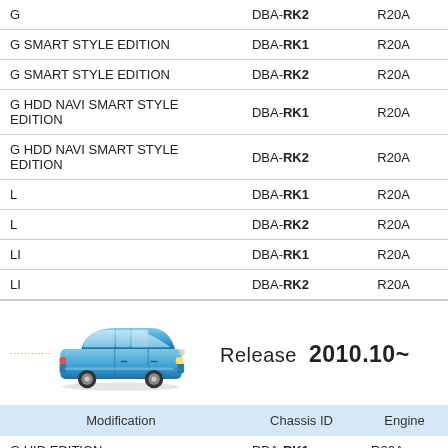| Modification | Chassis ID | Engine |
| --- | --- | --- |
| G | DBA-RK2 | R20A |
| G SMART STYLE EDITION | DBA-RK1 | R20A |
| G SMART STYLE EDITION | DBA-RK2 | R20A |
| G HDD NAVI SMART STYLE EDITION | DBA-RK1 | R20A |
| G HDD NAVI SMART STYLE EDITION | DBA-RK2 | R20A |
| L | DBA-RK1 | R20A |
| L | DBA-RK2 | R20A |
| LI | DBA-RK1 | R20A |
| LI | DBA-RK2 | R20A |
[Figure (illustration): Blue Honda Step Wagon minivan/MPV car image with small yellow text label above it]
Release 2010.10~
| Modification | Chassis ID | Engine |
| --- | --- | --- |
| G HID EDITION | DBA-RK1 | R20A |